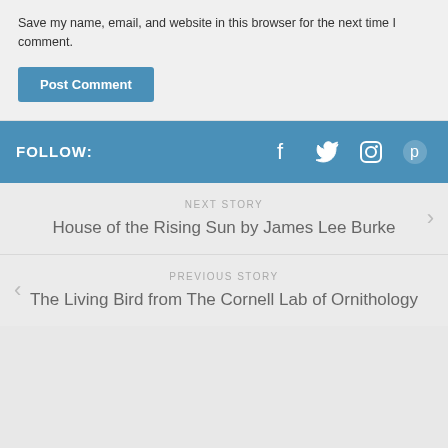Save my name, email, and website in this browser for the next time I comment.
Post Comment
FOLLOW:
NEXT STORY
House of the Rising Sun by James Lee Burke
PREVIOUS STORY
The Living Bird from The Cornell Lab of Ornithology